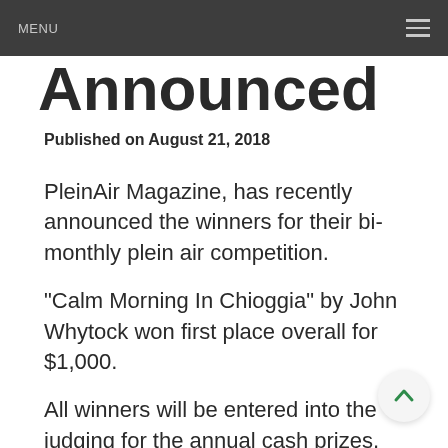MENU
Announced
Published on August 21, 2018
PleinAir Magazine, has recently announced the winners for their bi-monthly plein air competition.
"Calm Morning In Chioggia" by John Whytock won first place overall for $1,000.
All winners will be entered into the judging for the annual cash prizes, including the $15,000 grand prize for the best painting of the year.